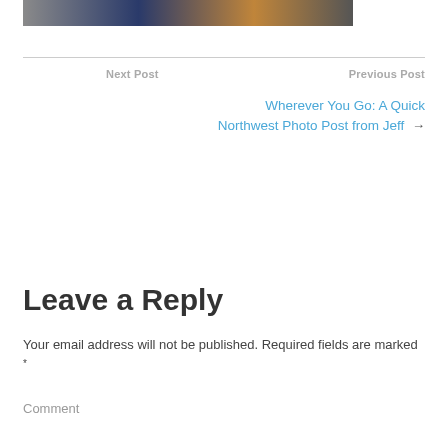[Figure (photo): A partial photo strip showing shelves with merchandise, dark and blue tones]
Next Post
Previous Post
Wherever You Go: A Quick Northwest Photo Post from Jeff →
Leave a Reply
Your email address will not be published. Required fields are marked *
Comment